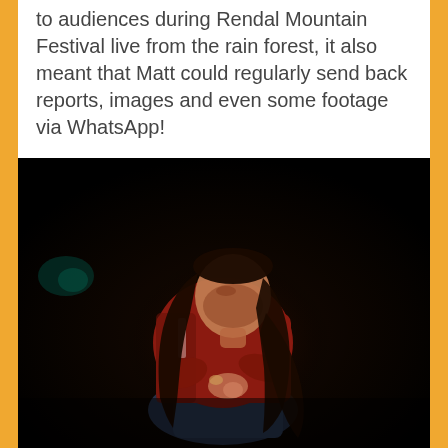to audiences during Rendal Mountain Festival live from the rain forest, it also meant that Matt could regularly send back reports, images and even some footage via WhatsApp!
[Figure (photo): A young woman wearing a red jacket crouching in a dark environment, looking downward, with long dark hair, photographed against a nearly black background with a faint teal lens flare visible on the left.]